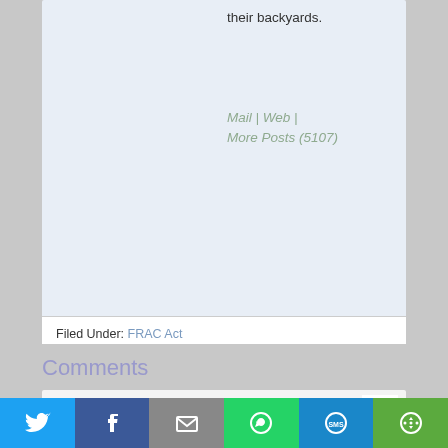their backyards.
Mail | Web | More Posts (5107)
Filed Under: FRAC Act
Comments
Zoe says
March 15, 2011 at 11:36 pm
[Figure (infographic): Social share bar with icons for Twitter, Facebook, Email, WhatsApp, SMS, and More]